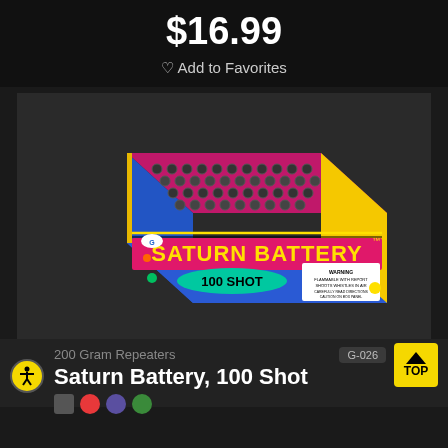$16.99
Add to Favorites
[Figure (photo): Product photo of Saturn Battery 100 Shot fireworks box — a colorful yellow, blue, and pink box with 100 black shot tubes visible from the top. The box reads 'SATURN BATTERY™ 100 SHOT' with a warning label on the side.]
200 Gram Repeaters
G-026
Saturn Battery, 100 Shot